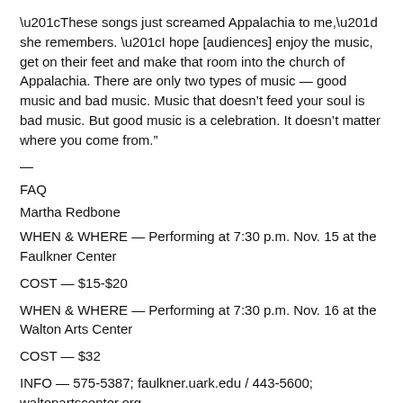“These songs just screamed Appalachia to me,” she remembers. “I hope [audiences] enjoy the music, get on their feet and make that room into the church of Appalachia. There are only two types of music — good music and bad music. Music that doesn’t feed your soul is bad music. But good music is a celebration. It doesn’t matter where you come from.”
—
FAQ
Martha Redbone
WHEN & WHERE — Performing at 7:30 p.m. Nov. 15 at the Faulkner Center
COST — $15-$20
WHEN & WHERE — Performing at 7:30 p.m. Nov. 16 at the Walton Arts Center
COST — $32
INFO — 575-5387; faulkner.uark.edu / 443-5600; waltonartscenter.org